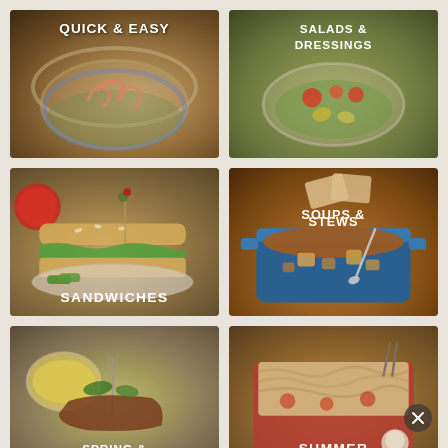[Figure (photo): Food category tile: Quick & Easy - shrimp salad in a blue and white bowl]
[Figure (photo): Food category tile: Salads & Dressings - colorful salad with tomatoes in a white bowl]
[Figure (photo): Food category tile: Sandwiches - BLT sandwich with olive pick and pickles, red tomato in background]
[Figure (photo): Food category tile: Soups & Stews - hearty stew in a blue Dutch oven pot]
[Figure (photo): Food category tile: Spring & Easter - plate with meat and side dishes]
[Figure (photo): Food category tile: Summer - baked dish with crumble topping]